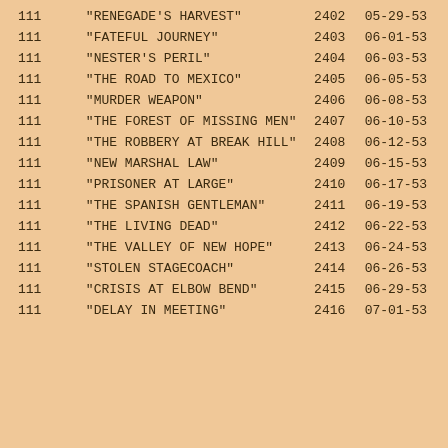| Col1 | Title | Num | Date |
| --- | --- | --- | --- |
| 111 | "RENEGADE'S HARVEST" | 2402 | 05-29-53 |
| 111 | "FATEFUL JOURNEY" | 2403 | 06-01-53 |
| 111 | "NESTER'S PERIL" | 2404 | 06-03-53 |
| 111 | "THE ROAD TO MEXICO" | 2405 | 06-05-53 |
| 111 | "MURDER WEAPON" | 2406 | 06-08-53 |
| 111 | "THE FOREST OF MISSING MEN" | 2407 | 06-10-53 |
| 111 | "THE ROBBERY AT BREAK HILL" | 2408 | 06-12-53 |
| 111 | "NEW MARSHAL LAW" | 2409 | 06-15-53 |
| 111 | "PRISONER AT LARGE" | 2410 | 06-17-53 |
| 111 | "THE SPANISH GENTLEMAN" | 2411 | 06-19-53 |
| 111 | "THE LIVING DEAD" | 2412 | 06-22-53 |
| 111 | "THE VALLEY OF NEW HOPE" | 2413 | 06-24-53 |
| 111 | "STOLEN STAGECOACH" | 2414 | 06-26-53 |
| 111 | "CRISIS AT ELBOW BEND" | 2415 | 06-29-53 |
| 111 | "DELAY IN MEETING" | 2416 | 07-01-53 |